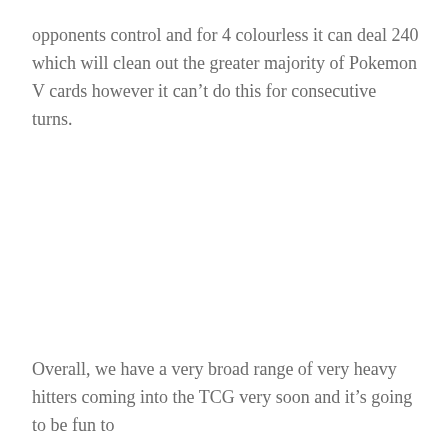opponents control and for 4 colourless it can deal 240 which will clean out the greater majority of Pokemon V cards however it can't do this for consecutive turns.
Overall, we have a very broad range of very heavy hitters coming into the TCG very soon and it's going to be fun to